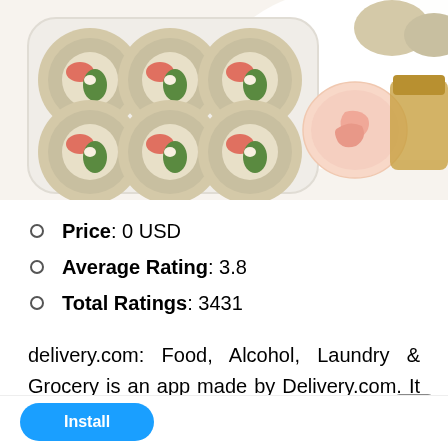[Figure (photo): Photo of sushi rolls in a white plastic tray with pickled ginger in a small bowl and a sauce container, on a white background]
Price: 0 USD
Average Rating: 3.8
Total Ratings: 3431
delivery.com: Food, Alcohol, Laundry & Grocery is an app made by Delivery.com. It has an average rating of 3.8 and has received 3431 ratings. The last update was on 2021-05-18T20:00:37.000Z.